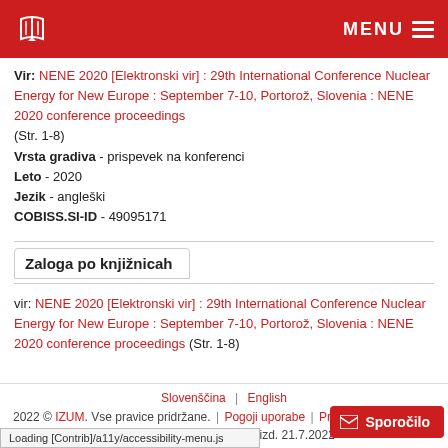MENU
Vir: NENE 2020 [Elektronski vir] : 29th International Conference Nuclear Energy for New Europe : September 7-10, Portorož, Slovenia : NENE 2020 conference proceedings (Str. 1-8)
Vrsta gradiva - prispevek na konferenci
Leto - 2020
Jezik - angleški
COBISS.SI-ID - 49095171
Zaloga po knjižnicah
vir: NENE 2020 [Elektronski vir] : 29th International Conference Nuclear Energy for New Europe : September 7-10, Portorož, Slovenia : NENE 2020 conference proceedings (Str. 1-8)
Slovenščina | English
2022 © IZUM. Vse pravice pridržane. | Pogoji uporabe | Pravilnik o zasebnosti | Piškotki | COBISS | m0... izd. 21.7.2022
Loading [Contrib]/a11y/accessibility-menu.js